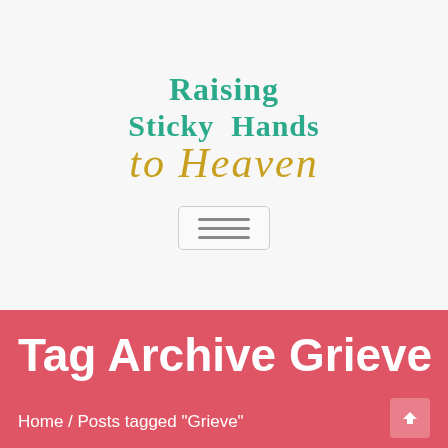[Figure (logo): Blog logo for 'Raising Sticky Hands to Heaven' — top text in teal serif, bottom text in gold italic script]
[Figure (other): Hamburger menu button with three horizontal lines inside a rounded rectangle border]
Tag Archive Grieve
Home / Posts tagged "Grieve"